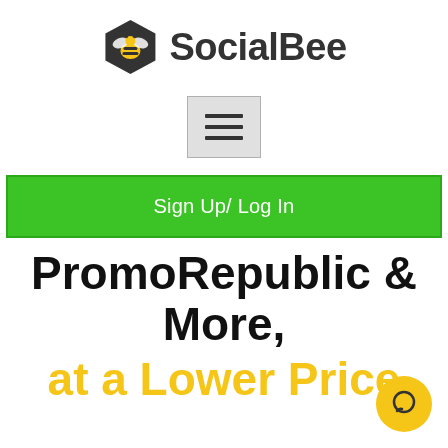[Figure (logo): SocialBee logo: dark hexagon with yellow bee icon on left, bold dark text 'SocialBee' on right]
[Figure (screenshot): Hamburger/menu button icon — three horizontal dark lines inside a light gray square button]
Sign Up/ Log In
PromoRepublic & More, at a Lower Price